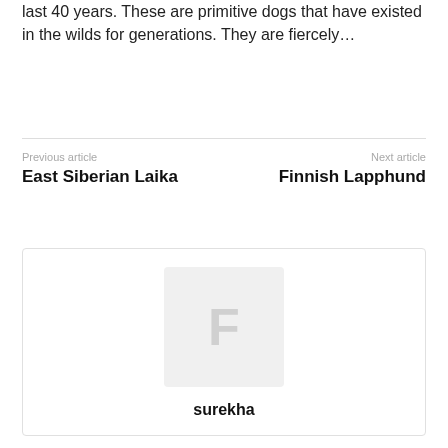last 40 years. These are primitive dogs that have existed in the wilds for generations. They are fiercely…
Previous article
East Siberian Laika
Next article
Finnish Lapphund
[Figure (illustration): Author avatar placeholder with 'F' letter icon in a light grey square]
surekha